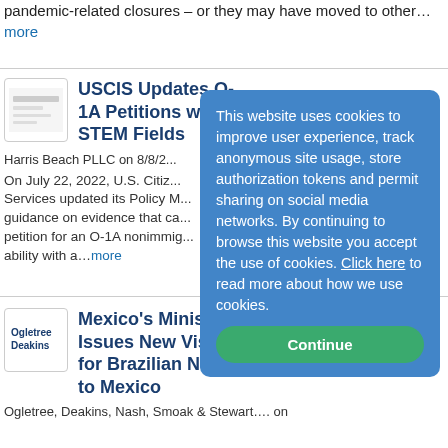pandemic-related closures – or they may have moved to other…more
USCIS Updates O-1A Petitions with STEM Fields
Harris Beach PLLC on 8/8/2...
On July 22, 2022, U.S. Citizenship and Immigration Services updated its Policy Manual to provide guidance on evidence that can be submitted with a petition for an O-1A nonimmigrant visa for ability with a…more
Mexico's Ministry of Foreign Affairs Issues New Visa Requirements for Brazilian Nationals Traveling to Mexico
Ogletree, Deakins, Nash, Smoak & Stewart…. on
This website uses cookies to improve user experience, track anonymous site usage, store authorization tokens and permit sharing on social media networks. By continuing to browse this website you accept the use of cookies. Click here to read more about how we use cookies.
Continue